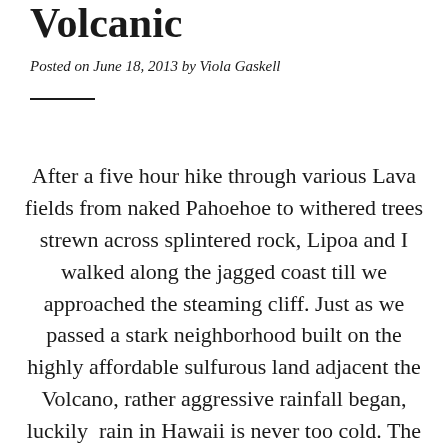Volcanic
Posted on June 18, 2013 by Viola Gaskell
After a five hour hike through various Lava fields from naked Pahoehoe to withered trees strewn across splintered rock, Lipoa and I walked along the jagged coast till we approached the steaming cliff. Just as we passed a stark neighborhood built on the highly affordable sulfurous land adjacent the Volcano, rather aggressive rainfall began, luckily  rain in Hawaii is never too cold. The Lava looked like scarlet ribbons running down the black rock into the ocean where steam plumed along the